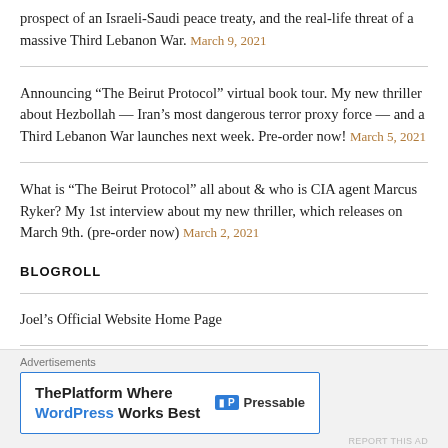prospect of an Israeli-Saudi peace treaty, and the real-life threat of a massive Third Lebanon War. March 9, 2021
Announcing “The Beirut Protocol” virtual book tour. My new thriller about Hezbollah — Iran’s most dangerous terror proxy force — and a Third Lebanon War launches next week. Pre-order now! March 5, 2021
What is “The Beirut Protocol” all about & who is CIA agent Marcus Ryker? My 1st interview about my new thriller, which releases on March 9th. (pre-order now) March 2, 2021
BLOGROLL
Joel’s Official Website Home Page
What is The Joshua Fund?
Would you like to know God personally?
VISIT JOEL’S “EPICENTER TEAM” PAGE ON FACEBOOK
[Figure (infographic): Pressable advertisement banner: ThePlatform Where WordPress Works Best]
Advertisements